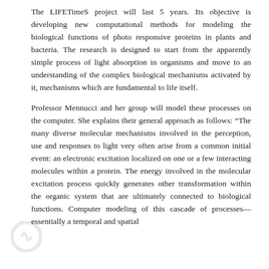The LIFETimeS project will last 5 years. Its objective is developing new computational methods for modeling the biological functions of photo responsive proteins in plants and bacteria. The research is designed to start from the apparently simple process of light absorption in organisms and move to an understanding of the complex biological mechanisms activated by it, mechanisms which are fundamental to life itself.
Professor Mennucci and her group will model these processes on the computer. She explains their general approach as follows: “The many diverse molecular mechanisms involved in the perception, use and responses to light very often arise from a common initial event: an electronic excitation localized on one or a few interacting molecules within a protein. The energy involved in the molecular excitation process quickly generates other transformation within the organic system that are ultimately connected to biological functions. Computer modeling of this cascade of processes—essentially a temporal and spatial